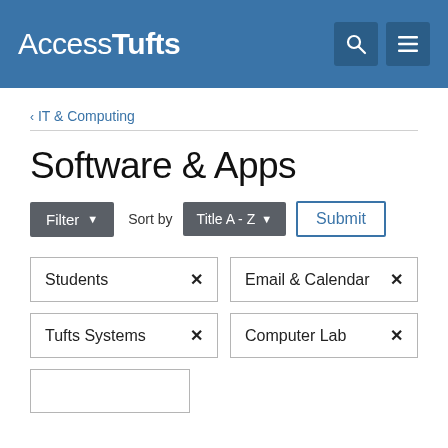AccessTufts
IT & Computing
Software & Apps
Filter  Sort by  Title A - Z  Submit
Students ×
Email & Calendar ×
Tufts Systems ×
Computer Lab ×